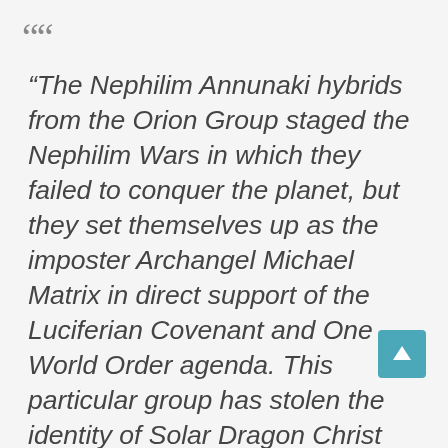“The Nephilim Annunaki hybrids from the Orion Group staged the Nephilim Wars in which they failed to conquer the planet, but they set themselves up as the imposter Archangel Michael Matrix in direct support of the Luciferian Covenant and One World Order agenda. This particular group has stolen the identity of Solar Dragon Christ Michael while his dimensionalized consciousness form was asleep in Earth strain. These are Fallen